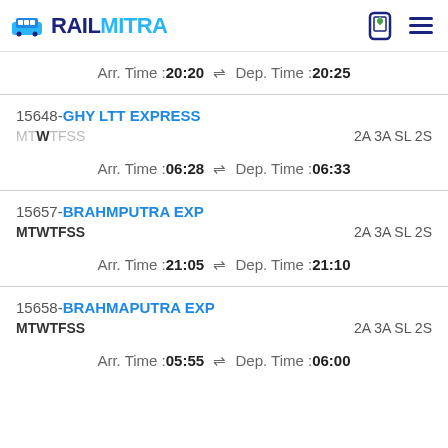RAILMITRA
Arr. Time :20:20 ⇌ Dep. Time :20:25
15648-GHY LTT EXPRESS MTWTFSS 2A 3A SL 2S Arr. Time :06:28 ⇌ Dep. Time :06:33
15657-BRAHMPUTRA EXP MTWTFSS 2A 3A SL 2S Arr. Time :21:05 ⇌ Dep. Time :21:10
15658-BRAHMAPUTRA EXP MTWTFSS 2A 3A SL 2S Arr. Time :05:55 ⇌ Dep. Time :06:00